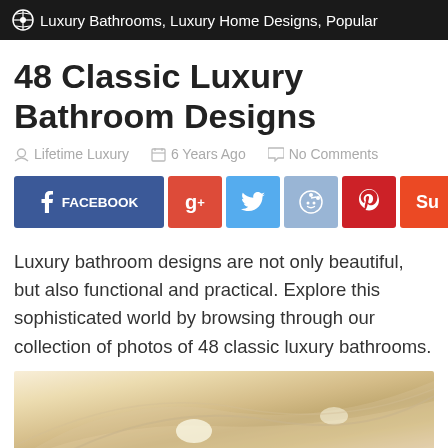Luxury Bathrooms, Luxury Home Designs, Popular
48 Classic Luxury Bathroom Designs
Lifetime Luxury   6 Years Ago   No Comments
[Figure (infographic): Social sharing buttons: Facebook, Google+, Twitter, Reddit, Pinterest, StumbleUpon, Email]
Luxury bathroom designs are not only beautiful, but also functional and practical. Explore this sophisticated world by browsing through our collection of photos of 48 classic luxury bathrooms.
[Figure (photo): Partial view of a luxury bathroom with cream/beige curved ceiling and warm lighting]